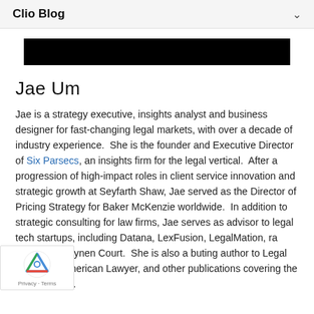Clio Blog
[Figure (other): Black redacted banner bar]
Jae Um
Jae is a strategy executive, insights analyst and business designer for fast-changing legal markets, with over a decade of industry experience.  She is the founder and Executive Director of Six Parsecs, an insights firm for the legal vertical.  After a progression of high-impact roles in client service innovation and strategic growth at Seyfarth Shaw, Jae served as the Director of Pricing Strategy for Baker McKenzie worldwide.  In addition to strategic consulting for law firms, Jae serves as advisor to legal tech startups, including Datana, LexFusion, LegalMation, ra ADR, and Reynen Court.  She is also a buting author to Legal Evolution, American Lawyer, and other publications covering the legal industry.